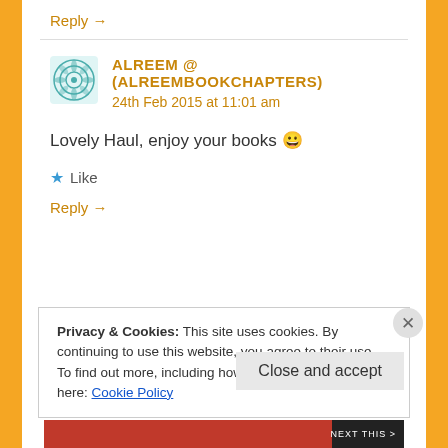Reply →
ALREEM @ (ALREEMBOOKCHAPTERS)
24th Feb 2015 at 11:01 am
Lovely Haul, enjoy your books 😀
★ Like
Reply →
Privacy & Cookies: This site uses cookies. By continuing to use this website, you agree to their use.
To find out more, including how to control cookies, see here: Cookie Policy
Close and accept